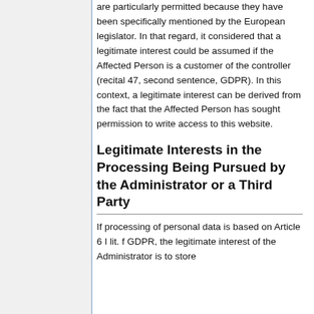are particularly permitted because they have been specifically mentioned by the European legislator. In that regard, it considered that a legitimate interest could be assumed if the Affected Person is a customer of the controller (recital 47, second sentence, GDPR). In this context, a legitimate interest can be derived from the fact that the Affected Person has sought permission to write access to this website.
Legitimate Interests in the Processing Being Pursued by the Administrator or a Third Party
If processing of personal data is based on Article 6 I lit. f GDPR, the legitimate interest of the Administrator is to store and evaluate his availability to this